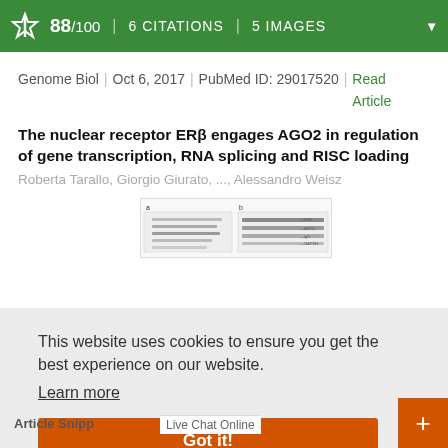88/100 | 6 CITATIONS | 5 IMAGES
Genome Biol | Oct 6, 2017 | PubMed ID: 29017520 | Read Article
The nuclear receptor ERβ engages AGO2 in regulation of gene transcription, RNA splicing and RISC loading
Roberta Tarallo, Giorgio Giurato, ..., Alessandro Weisz
[Figure (photo): Western blot / gel image thumbnail showing two panels (a and b) with protein bands]
This website uses cookies to ensure you get the best experience on our website.
Learn more
Got it!
Article Snipp
Live Chat Online